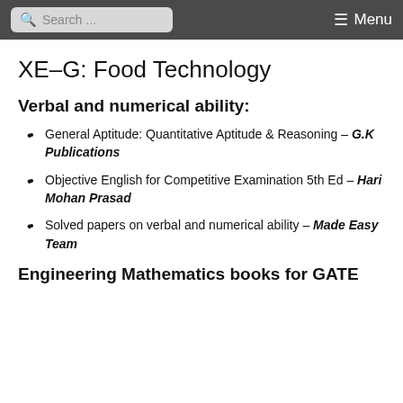Search ... Menu
XE–G: Food Technology
Verbal and numerical ability:
General Aptitude: Quantitative Aptitude & Reasoning – G.K Publications
Objective English for Competitive Examination 5th Ed – Hari Mohan Prasad
Solved papers on verbal and numerical ability – Made Easy Team
Engineering Mathematics books for GATE